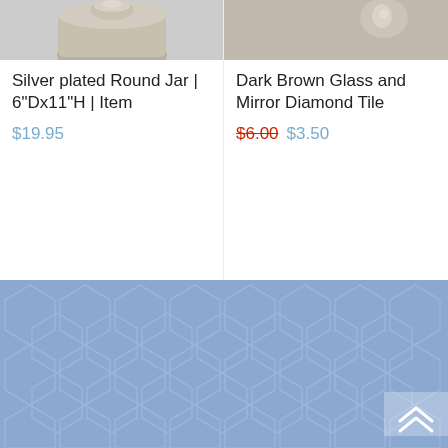[Figure (photo): Cropped top portion of a silver plated round jar product photo]
Silver plated Round Jar | 6"Dx11"H | Item
$19.95
[Figure (photo): Cropped top portion of a dark brown glass and mirror diamond tile product photo]
Dark Brown Glass and Mirror Diamond Tile
$6.00 $3.50
[Figure (illustration): Blue hexagonal tile pattern background forming the footer area of the webpage, with a white semi-transparent back-to-top arrow button in the bottom right]